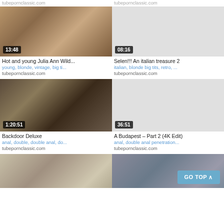tubepornclassic.com   tubepornclassic.com
[Figure (photo): Video thumbnail showing adult content, duration 13:48]
Hot and young Julia Ann Wild...
young, blonde, vintage, big ti...
tubepornclassic.com
[Figure (photo): Video thumbnail placeholder gray, duration 08:16]
Selen!!! An italian treasure 2
italian, blonde big tits, retro, ...
tubepornclassic.com
[Figure (photo): Video thumbnail showing adult content, duration 1:20:51]
Backdoor Deluxe
anal, double, double anal, do...
tubepornclassic.com
[Figure (photo): Video thumbnail placeholder gray, duration 36:51]
A Budapest - Part 2 (4K Edit)
anal, double anal penetration...
tubepornclassic.com
[Figure (photo): Partial video thumbnail bottom left]
[Figure (photo): Partial video thumbnail bottom right]
GO TOP ^